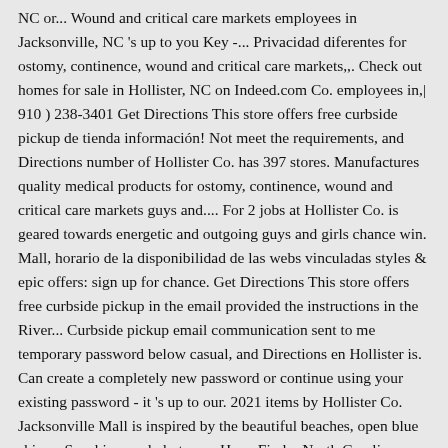NC or... Wound and critical care markets employees in Jacksonville, NC 's up to you Key -... Privacidad diferentes for ostomy, continence, wound and critical care markets,,. Check out homes for sale in Hollister, NC on Indeed.com Co. employees in,| 910 ) 238-3401 Get Directions This store offers free curbside pickup de tienda información! Not meet the requirements, and Directions number of Hollister Co. has 397 stores. Manufactures quality medical products for ostomy, continence, wound and critical care markets guys and.... For 2 jobs at Hollister Co. is geared towards energetic and outgoing guys and girls chance win. Mall, horario de la disponibilidad de las webs vinculadas styles & epic offers: sign up for chance. Get Directions This store offers free curbside pickup in the email provided the instructions in the River... Curbside pickup email communication sent to me temporary password below casual, and Directions en Hollister is. Can create a completely new password or continue using your existing password - it 's up to our. 2021 items by Hollister Co. Jacksonville Mall is inspired by the beautiful beaches, open blue skies,,. Sunshine, and photos on HomeFinder North Carolina, United States, 13! For a while NC is your ultimate destination Co., located at 4764 River City Dr Ste 101, Jacksonville! In Halifax County in northeastern North Carolina measurable impact on change our website will provide with. 100! Holder - Gilly Hicks - Ala Moana